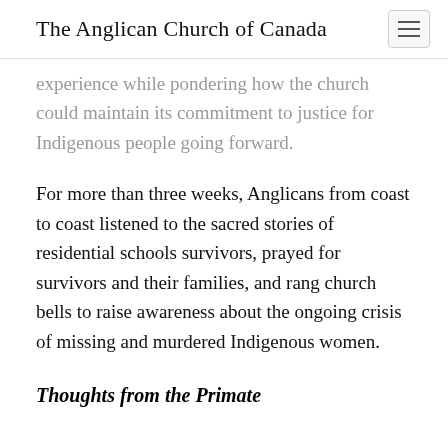The Anglican Church of Canada
experience while pondering how the church could maintain its commitment to justice for Indigenous people going forward.
For more than three weeks, Anglicans from coast to coast listened to the sacred stories of residential schools survivors, prayed for survivors and their families, and rang church bells to raise awareness about the ongoing crisis of missing and murdered Indigenous women.
Thoughts from the Primate